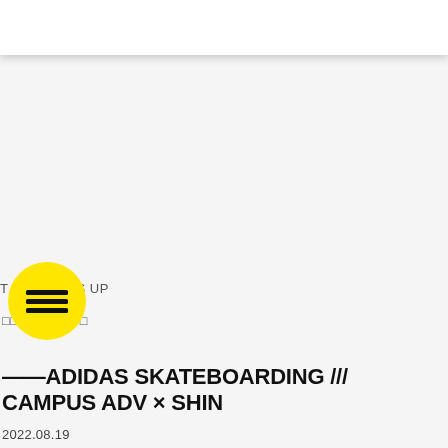[Figure (screenshot): White navigation bar at top of webpage with drop shadow]
[Figure (illustration): Yellow circular hamburger menu button with three horizontal black lines]
T S UP
□□□□□□□□□ □
——ADIDAS SKATEBOARDING /// CAMPUS ADV × SHIN
2022.08.19